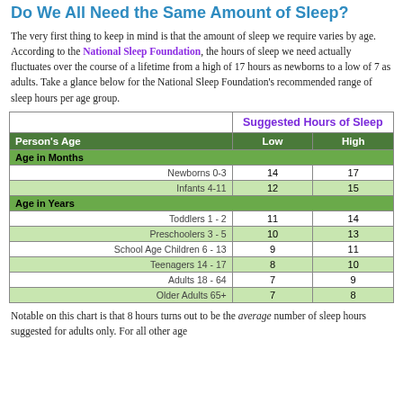Do We All Need the Same Amount of Sleep?
The very first thing to keep in mind is that the amount of sleep we require varies by age. According to the National Sleep Foundation, the hours of sleep we need actually fluctuates over the course of a lifetime from a high of 17 hours as newborns to a low of 7 as adults. Take a glance below for the National Sleep Foundation's recommended range of sleep hours per age group.
| Person's Age | Low | High |
| --- | --- | --- |
| Age in Months |  |  |
| Newborns 0-3 | 14 | 17 |
| Infants 4-11 | 12 | 15 |
| Age in Years |  |  |
| Toddlers 1 - 2 | 11 | 14 |
| Preschoolers 3 - 5 | 10 | 13 |
| School Age Children 6 - 13 | 9 | 11 |
| Teenagers 14 - 17 | 8 | 10 |
| Adults 18 - 64 | 7 | 9 |
| Older Adults 65+ | 7 | 8 |
Notable on this chart is that 8 hours turns out to be the average number of sleep hours suggested for adults only. For all other age